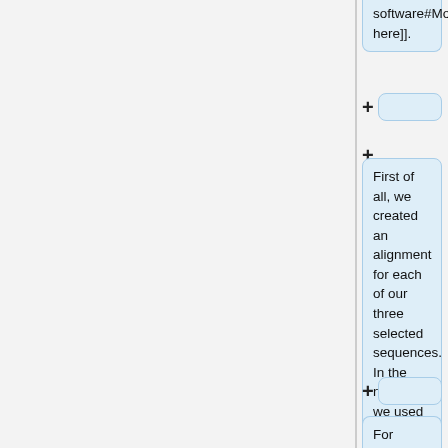software#Modeller here]].
First of all, we created an alignment for each of our three selected sequences. In the next step we used Modeller to model the 3D structure of the protein.
For Modeller we used the Pir Alignment format, which can be found here: [[http://i12r-studfilesrv.informatik.tu-muenchen.de/wiki/index.php/Homology-